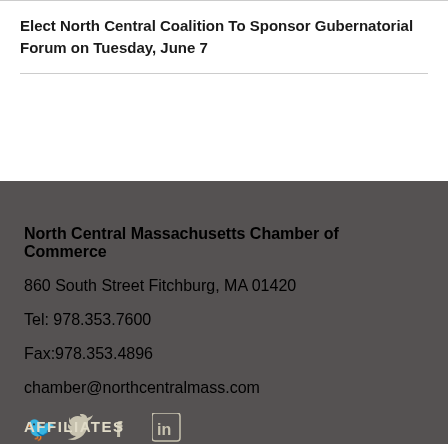Elect North Central Coalition To Sponsor Gubernatorial Forum on Tuesday, June 7
North Central Massachusetts Chamber of Commerce
860 South Street Fitchburg, MA 01420
Tel: 978.353.7600
Fax:978.353.4896
chamber@northcentralmass.com
[Figure (infographic): Social media icons: Twitter bird, Facebook F, LinkedIn in]
AFFILIATES